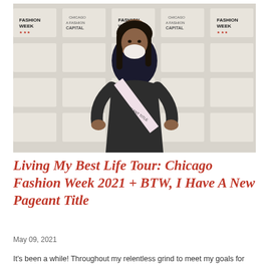[Figure (photo): A woman wearing a pageant sash standing in front of a Chicago Fashion Week / Chicago A Fashion Capital branded step-and-repeat backdrop. She is dressed in a dark outfit and smiling.]
Living My Best Life Tour: Chicago Fashion Week 2021 + BTW, I Have A New Pageant Title
May 09, 2021
It's been a while! Throughout my relentless grind to meet my goals for